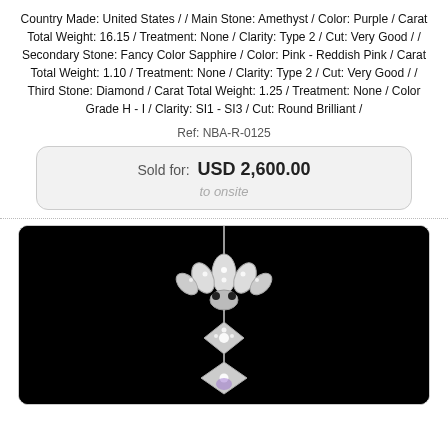Country Made: United States / / Main Stone: Amethyst / Color: Purple / Carat Total Weight: 16.15 / Treatment: None / Clarity: Type 2 / Cut: Very Good / / Secondary Stone: Fancy Color Sapphire / Color: Pink - Reddish Pink / Carat Total Weight: 1.10 / Treatment: None / Clarity: Type 2 / Cut: Very Good / / Third Stone: Diamond / Carat Total Weight: 1.25 / Treatment: None / Color Grade H - I / Clarity: SI1 - SI3 / Cut: Round Brilliant /
Ref: NBA-R-0125
Sold for: USD 2,600.00
to onsite
[Figure (photo): A jewelry pendant necklace photographed against a black background. The pendant appears to be a white metal (platinum or white gold) piece with diamond accents, featuring a fleur-de-lis style top ornament and a decorative pendant drop below.]